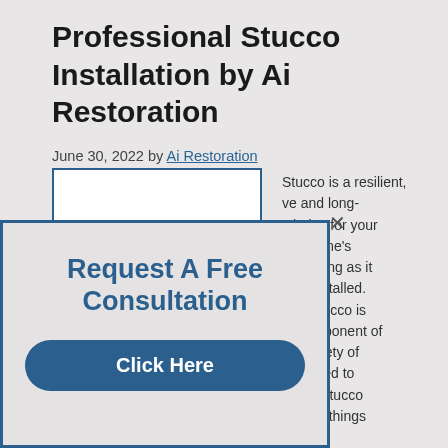Professional Stucco Installation by Ai Restoration
June 30, 2022 by Ai Restoration
[Figure (screenshot): Website screenshot showing a modal popup with 'Request A Free Consultation' and a 'Click Here' button overlaying an article page about Professional Stucco Installation by Ai Restoration]
Stucco is a resilient, ve and long- choice for your  PA home's  – so long as it ully installed. ible stucco is e component of e entirety of d sealed to roper stucco revent things